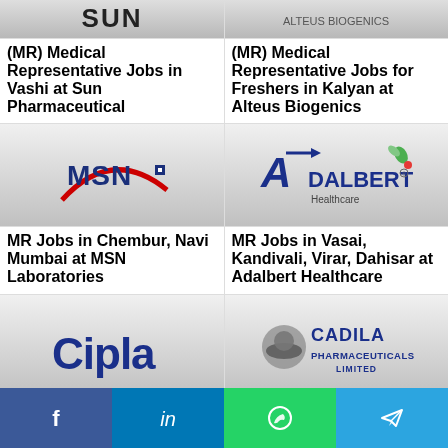[Figure (logo): Sun Pharmaceutical logo - grey gradient background with SUN text]
(MR) Medical Representative Jobs in Vashi at Sun Pharmaceutical
[Figure (logo): Alteus Biogenics logo - grey gradient background]
(MR) Medical Representative Jobs for Freshers in Kalyan at Alteus Biogenics
[Figure (logo): MSN Laboratories logo - red swoosh with MSN text in blue]
MR Jobs in Chembur, Navi Mumbai at MSN Laboratories
[Figure (logo): Adalbert Healthcare logo - blue A with arrow, green leaf, red dot]
MR Jobs in Vasai, Kandivali, Virar, Dahisar at Adalbert Healthcare
[Figure (logo): Cipla logo - white/blue Cipla text on gradient background]
[Figure (logo): Cadila Pharmaceuticals Limited logo with circular emblem]
Facebook | LinkedIn | WhatsApp | Telegram social share bar